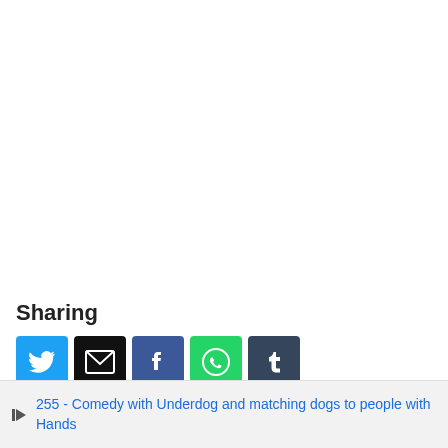Sharing
[Figure (infographic): Row of five social sharing buttons: Twitter (blue bird icon), Email (black envelope icon), Facebook (blue f icon), WhatsApp (green phone icon), Tumblr (dark blue t icon)]
◄ 255 - Comedy with Underdog and matching dogs to people with Hands